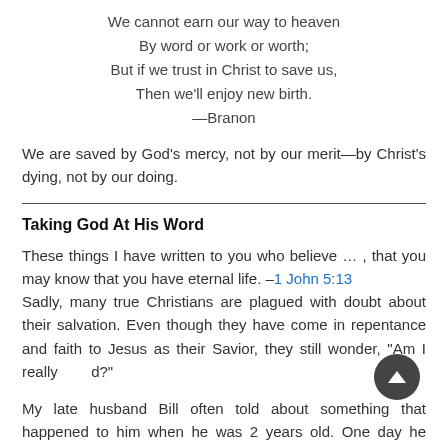We cannot earn our way to heaven
By word or work or worth;
But if we trust in Christ to save us,
Then we'll enjoy new birth.
—Branon
We are saved by God's mercy, not by our merit—by Christ's dying, not by our doing.
Taking God At His Word
These things I have written to you who believe … , that you may know that you have eternal life. —1 John 5:13
Sadly, many true Christians are plagued with doubt about their salvation. Even though they have come in repentance and faith to Jesus as their Savior, they still wonder, "Am I really saved?"
My late husband Bill often told about something that happened to him when he was 2 years old. One day he disobediently